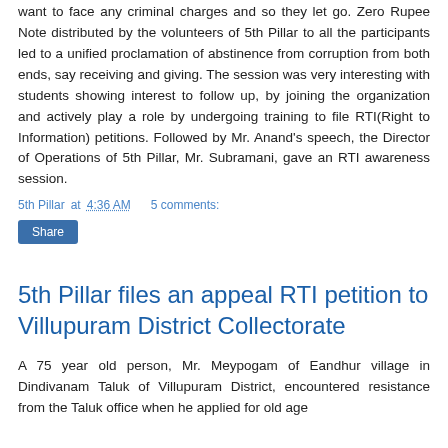want to face any criminal charges and so they let go. Zero Rupee Note distributed by the volunteers of 5th Pillar to all the participants led to a unified proclamation of abstinence from corruption from both ends, say receiving and giving. The session was very interesting with students showing interest to follow up, by joining the organization and actively play a role by undergoing training to file RTI(Right to Information) petitions. Followed by Mr. Anand's speech, the Director of Operations of 5th Pillar, Mr. Subramani, gave an RTI awareness session.
5th Pillar at 4:36 AM   5 comments:
Share
5th Pillar files an appeal RTI petition to Villupuram District Collectorate
A 75 year old person, Mr. Meypogam of Eandhur village in Dindivanam Taluk of Villupuram District, encountered resistance from the Taluk office when he applied for old age